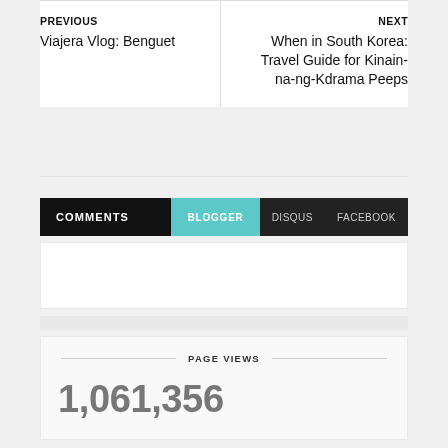PREVIOUS
Viajera Vlog: Benguet
NEXT
When in South Korea: Travel Guide for Kinain-na-ng-Kdrama Peeps
COMMENTS   BLOGGER   DISQUS   FACEBOOK
PAGE VIEWS
1,061,356